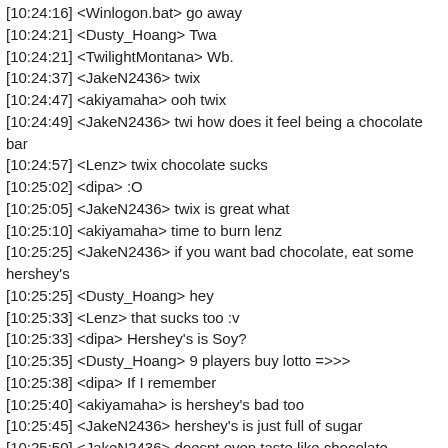[10:24:16] <Winlogon.bat> go away
[10:24:21] <Dusty_Hoang> Twa
[10:24:21] <TwilightMontana> Wb.
[10:24:37] <JakeN2436> twix
[10:24:47] <akiyamaha> ooh twix
[10:24:49] <JakeN2436> twi how does it feel being a chocolate bar
[10:24:57] <Lenz> twix chocolate sucks
[10:25:02] <dipa> :O
[10:25:05] <JakeN2436> twix is great what
[10:25:10] <akiyamaha> time to burn lenz
[10:25:25] <JakeN2436> if you want bad chocolate, eat some hershey's
[10:25:25] <Dusty_Hoang> hey
[10:25:33] <Lenz> that sucks too :v
[10:25:33] <dipa> Hershey's is Soy?
[10:25:35] <Dusty_Hoang> 9 players buy lotto =>>>
[10:25:38] <dipa> If I remember
[10:25:40] <akiyamaha> is hershey's bad too
[10:25:45] <JakeN2436> hershey's is just full of sugar
[10:25:50] <JakeN2436> doesnt even taste like chocolate
[10:26:08] <TwilightMontana> Only the brown one does.
[10:26:08] <akiyamaha> ngl i just eat whatever lmao
[10:26:11] <Dusty_Hoang> .lotto 9 is the best
[10:26:18] <Twi> oh no
[10:26:24] <Twi> ...